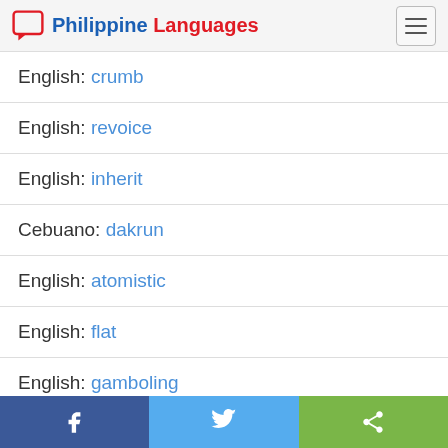Philippine Languages
English: crumb
English: revoice
English: inherit
Cebuano: dakrun
English: atomistic
English: flat
English: gamboling
Facebook | Twitter | Share